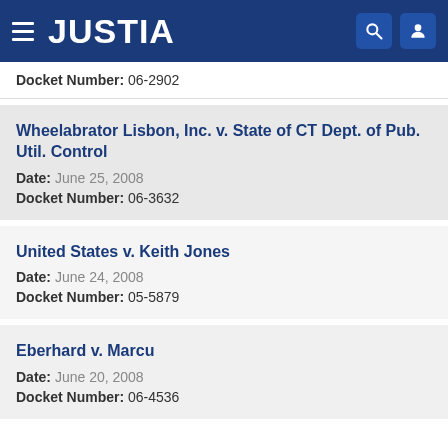JUSTIA
Docket Number: 06-2902
Wheelabrator Lisbon, Inc. v. State of CT Dept. of Pub. Util. Control
Date: June 25, 2008
Docket Number: 06-3632
United States v. Keith Jones
Date: June 24, 2008
Docket Number: 05-5879
Eberhard v. Marcu
Date: June 20, 2008
Docket Number: 06-4536